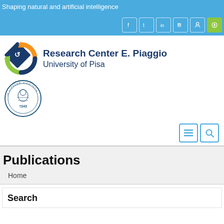Shaping natural and artificial intelligence
[Figure (logo): Research Center E. Piaggio, University of Pisa logo with circular arrow emblem and University of Pisa seal]
Publications
Home
Search